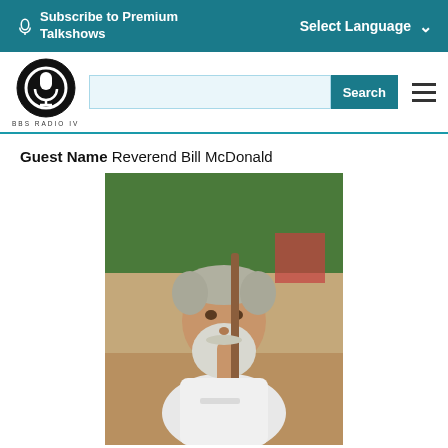Subscribe to Premium Talkshows | Select Language
[Figure (logo): BBS Radio TV logo — black circle with microphone icon]
Guest Name Reverend Bill McDonald
[Figure (photo): Photo of Reverend Bill McDonald, a bearded older man in a white t-shirt leaning on a wooden staff outdoors]